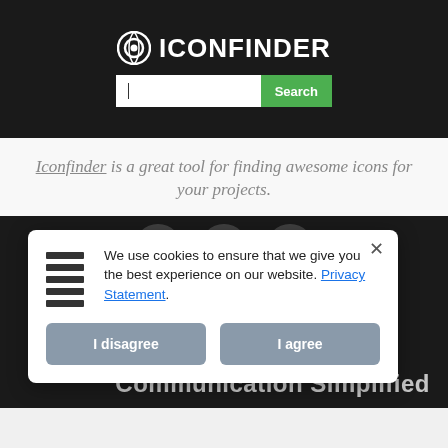[Figure (screenshot): Iconfinder website header with logo and search bar on dark background]
Iconfinder is a great tool for finding awesome icons for your projects.
[Figure (screenshot): Cookie consent popup overlay on dark background with 'I disagree' and 'I agree' buttons, and text 'Communication Simplified' visible behind]
We use cookies to ensure that we give you the best experience on our website. Privacy Statement.
Communication Simplified